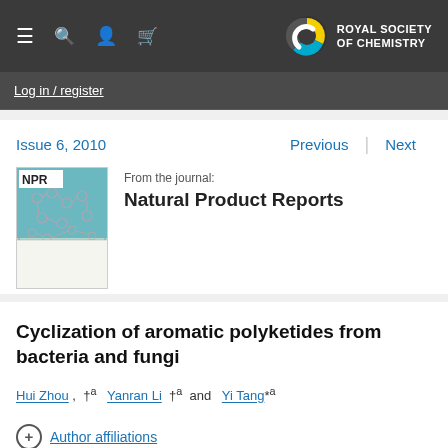Royal Society of Chemistry — Log in / register
Issue 6, 2010
Previous | Next
[Figure (photo): Cover image of Natural Product Reports journal, issue 6, 2010, showing molecular structures on a teal/green background with NPR text.]
From the journal: Natural Product Reports
Cyclization of aromatic polyketides from bacteria and fungi
Hui Zhou, † a  Yanran Li † a and Yi Tang *a
Author affiliations